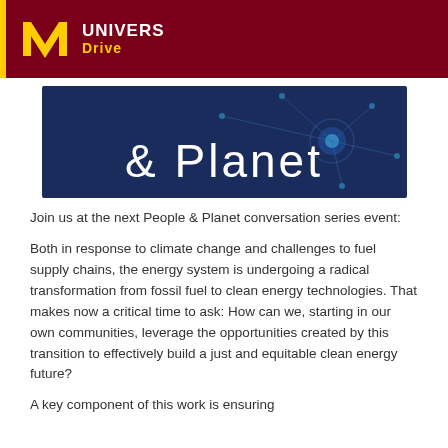UNIVERS Drive
[Figure (illustration): Dark blue banner with network/node graphic and large white text '& Planet']
Join us at the next People & Planet conversation series event:
Both in response to climate change and challenges to fuel supply chains, the energy system is undergoing a radical transformation from fossil fuel to clean energy technologies. That makes now a critical time to ask: How can we, starting in our own communities, leverage the opportunities created by this transition to effectively build a just and equitable clean energy future?
A key component of this work is ensuring